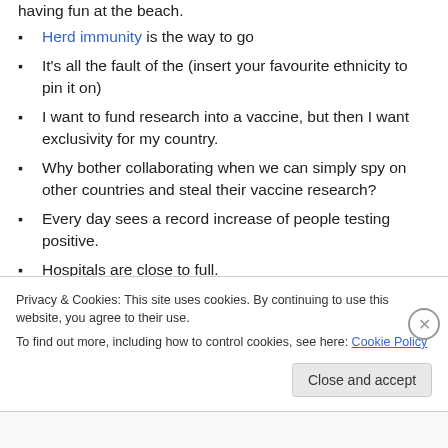having fun at the beach.
Herd immunity is the way to go
It's all the fault of the (insert your favourite ethnicity to pin it on)
I want to fund research into a vaccine, but then I want exclusivity for my country.
Why bother collaborating when we can simply spy on other countries and steal their vaccine research?
Every day sees a record increase of people testing positive.
Hospitals are close to full.
Privacy & Cookies: This site uses cookies. By continuing to use this website, you agree to their use. To find out more, including how to control cookies, see here: Cookie Policy
Close and accept